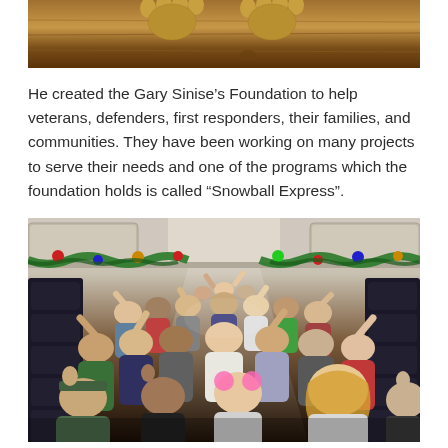[Figure (photo): Top portion of a photo showing a dog's paws resting on what appears to be a wooden surface or desk, cropped at the top of the page.]
He created the Gary Sinise's Foundation to help veterans, defenders, first responders, their families, and communities. They have been working on many projects to serve their needs and one of the programs which the foundation holds is called “Snowball Express”.
[Figure (photo): Interior of a decorated airplane with Christmas decorations including garlands, ornaments, and colorful holiday decorations along the overhead compartments. A large group of people — children, teenagers, and adults — are seated and waving at the camera, smiling. The plane is festively decorated for the Snowball Express program.]